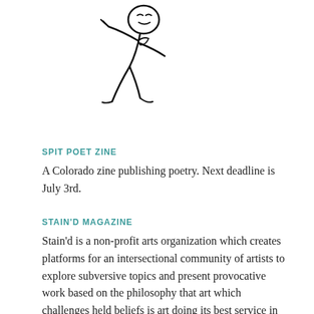[Figure (illustration): A hand-drawn illustration of a figure appearing to be falling or tumbling, with limbs extended, rendered in black ink lines on white background.]
SPIT POET ZINE
A Colorado zine publishing poetry. Next deadline is July 3rd.
STAIN'D MAGAZINE
Stain'd is a non-profit arts organization which creates platforms for an intersectional community of artists to explore subversive topics and present provocative work based on the philosophy that art which challenges held beliefs is art doing its best service in society. Currently taking submissions for their forthcoming “Blood” issue.